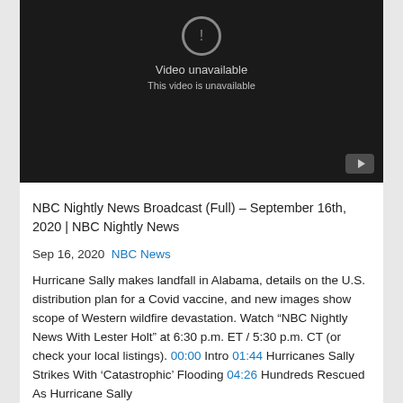[Figure (screenshot): YouTube video embed showing 'Video unavailable / This video is unavailable' message on a dark background, with a YouTube play button icon in the bottom right corner.]
NBC Nightly News Broadcast (Full) – September 16th, 2020 | NBC Nightly News
Sep 16, 2020  NBC News
Hurricane Sally makes landfall in Alabama, details on the U.S. distribution plan for a Covid vaccine, and new images show scope of Western wildfire devastation. Watch “NBC Nightly News With Lester Holt” at 6:30 p.m. ET / 5:30 p.m. CT (or check your local listings). 00:00 Intro 01:44 Hurricanes Sally Strikes With ‘Catastrophic’ Flooding 04:26 Hundreds Rescued As Hurricane Sally